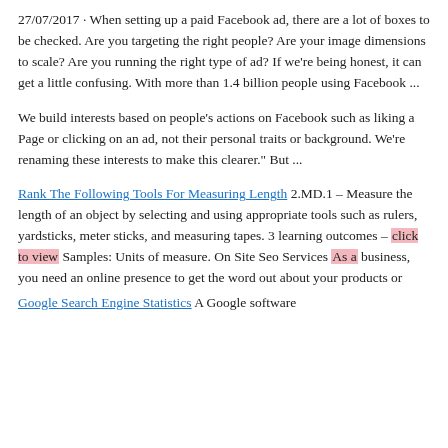27/07/2017 · When setting up a paid Facebook ad, there are a lot of boxes to be checked. Are you targeting the right people? Are your image dimensions to scale? Are you running the right type of ad? If we're being honest, it can get a little confusing. With more than 1.4 billion people using Facebook ...
We build interests based on people's actions on Facebook such as liking a Page or clicking on an ad, not their personal traits or background. We're renaming these interests to make this clearer." But ...
Rank The Following Tools For Measuring Length 2.MD.1 – Measure the length of an object by selecting and using appropriate tools such as rulers, yardsticks, meter sticks, and measuring tapes. 3 learning outcomes – click to view Samples: Units of measure. On Site Seo Services As a business, you need an online presence to get the word out about your products or
Google Search Engine Statistics A Google software